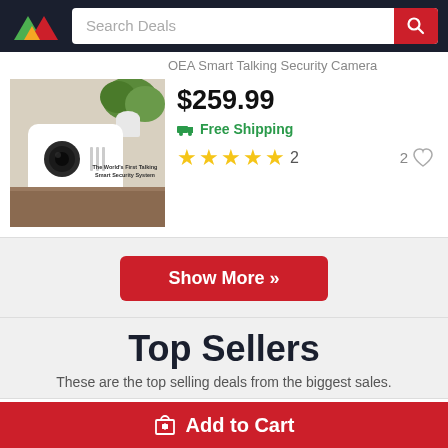[Figure (screenshot): App header with logo and search bar reading 'Search Deals' with red search button]
OEA Smart Talking Security Camera
[Figure (photo): White smart security camera on stand with text 'The World's First Talking Smart Security System']
$259.99
Free Shipping
★★★★★ 2   2 ♡
Show More »
Top Sellers
These are the top selling deals from the biggest sales.
[Figure (photo): Blue sky with clouds]
Aluminum Alloy Canoeing Trailer Cart Silver
Add to Cart